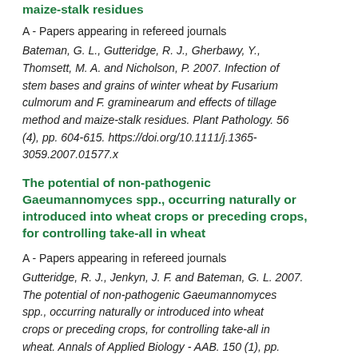maize-stalk residues
A - Papers appearing in refereed journals
Bateman, G. L., Gutteridge, R. J., Gherbawy, Y., Thomsett, M. A. and Nicholson, P. 2007. Infection of stem bases and grains of winter wheat by Fusarium culmorum and F. graminearum and effects of tillage method and maize-stalk residues. Plant Pathology. 56 (4), pp. 604-615. https://doi.org/10.1111/j.1365-3059.2007.01577.x
The potential of non-pathogenic Gaeumannomyces spp., occurring naturally or introduced into wheat crops or preceding crops, for controlling take-all in wheat
A - Papers appearing in refereed journals
Gutteridge, R. J., Jenkyn, J. F. and Bateman, G. L. 2007. The potential of non-pathogenic Gaeumannomyces spp., occurring naturally or introduced into wheat crops or preceding crops, for controlling take-all in wheat. Annals of Applied Biology - AAB. 150 (1), pp.